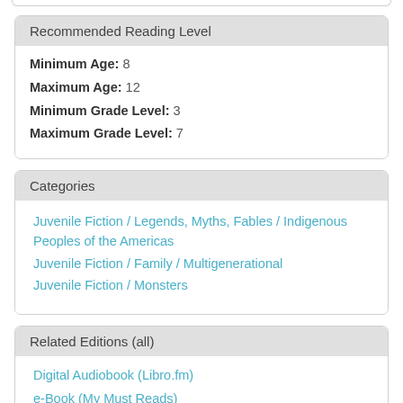Recommended Reading Level
| Minimum Age: | 8 |
| Maximum Age: | 12 |
| Minimum Grade Level: | 3 |
| Maximum Grade Level: | 7 |
Categories
Juvenile Fiction / Legends, Myths, Fables / Indigenous Peoples of the Americas
Juvenile Fiction / Family / Multigenerational
Juvenile Fiction / Monsters
Related Editions (all)
Digital Audiobook (Libro.fm)
e-Book (My Must Reads)
Paperback (May 3rd, 2022): $6.79